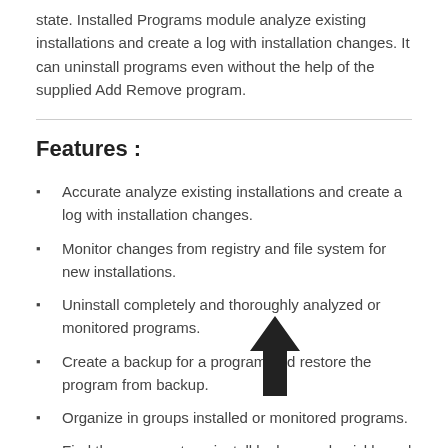state. Installed Programs module analyze existing installations and create a log with installation changes. It can uninstall programs even without the help of the supplied Add Remove program.
Features :
Accurate analyze existing installations and create a log with installation changes.
Monitor changes from registry and file system for new installations.
Uninstall completely and thoroughly analyzed or monitored programs.
Create a backup for a program and restore the program from backup.
Organize in groups installed or monitored programs.
Find the program to uninstall by keyword quickly and easily.